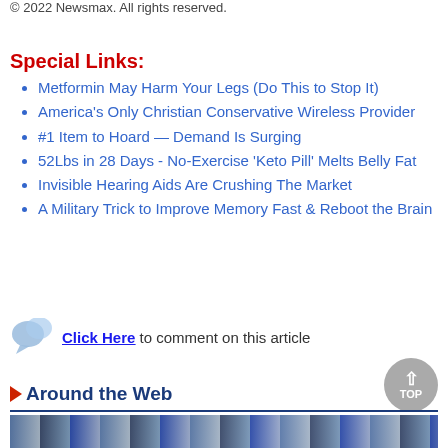© 2022 Newsmax. All rights reserved.
Special Links:
Metformin May Harm Your Legs (Do This to Stop It)
America's Only Christian Conservative Wireless Provider
#1 Item to Hoard — Demand Is Surging
52Lbs in 28 Days - No-Exercise 'Keto Pill' Melts Belly Fat
Invisible Hearing Aids Are Crushing The Market
A Military Trick to Improve Memory Fast & Reboot the Brain
Click Here to comment on this article
Around the Web
[Figure (photo): Bottom image strip showing bottles, partially visible]